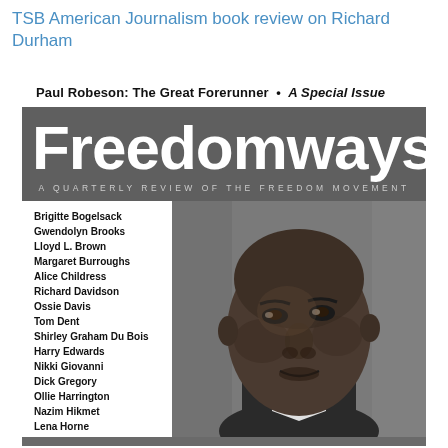TSB American Journalism book review on Richard Durham
[Figure (photo): Cover of Freedomways magazine, a quarterly review of the freedom movement. Special issue titled 'Paul Robeson: The Great Forerunner'. Features large white 'Freedomways' title on gray background, subtitle 'A Quarterly Review of the Freedom Movement', a list of contributors on the left (Brigitte Bogelsack, Gwendolyn Brooks, Lloyd L. Brown, Margaret Burroughs, Alice Childress, Richard Davidson, Ossie Davis, Tom Dent, Shirley Graham Du Bois, Harry Edwards, Nikki Giovanni, Dick Gregory, Ollie Harrington, Nazim Hikmet, Lena Horne), and a black-and-white photograph of Paul Robeson on the right.]